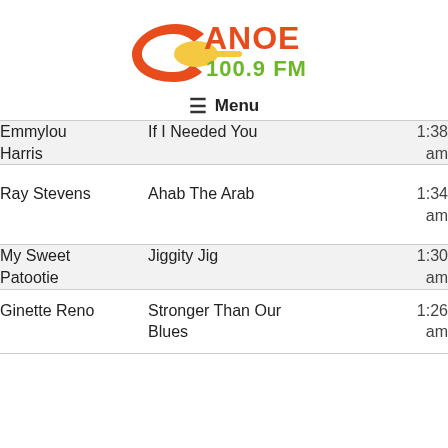[Figure (logo): Canoe 100.9 FM radio station logo with orange C and paddle graphic, green 100.9 FM text]
☰ Menu
| Artist | Song | Time |
| --- | --- | --- |
| Emmylou Harris | If I Needed You | 1:38 am |
| Ray Stevens | Ahab The Arab | 1:34 am |
| My Sweet Patootie | Jiggity Jig | 1:30 am |
| Ginette Reno | Stronger Than Our Blues | 1:26 am |